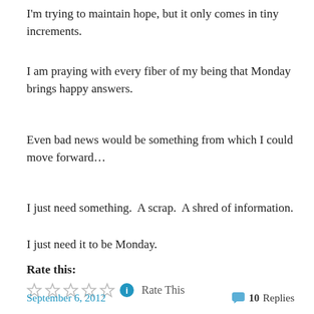I'm trying to maintain hope, but it only comes in tiny increments.
I am praying with every fiber of my being that Monday brings happy answers.
Even bad news would be something from which I could move forward…
I just need something.  A scrap.  A shred of information.
I just need it to be Monday.
Rate this:
Rate This
September 6, 2012    10 Replies